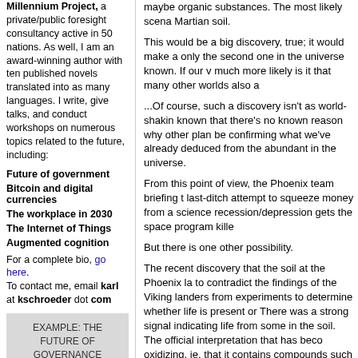Millennium Project, a private/public foresight consultancy active in 50 nations. As well, I am an award-winning author with ten published novels translated into as many languages. I write, give talks, and conduct workshops on numerous topics related to the future, including:
Future of government
Bitcoin and digital currencies
The workplace in 2030
The Internet of Things
Augmented cognition
For a complete bio, go here. To contact me, email karl at kschroeder dot com
EXAMPLE: THE FUTURE OF GOVERNANCE
I use Science Fiction to
maybe organic substances.  The most likely scena Martian soil.
This would be a big discovery, true; it would make a only the second one in the universe known.  If our v much more likely is it that many other worlds also a
...Of course, such a discovery isn't as world-shakin known that there's no known reason why other plan be confirming what we've already deduced from the abundant in the universe.
From this point of view, the Phoenix team briefing t last-ditch attempt to squeeze money from a science recession/depression gets the space program kille
But there is one other possibility.
The recent discovery that the soil at the Phoenix la to contradict the findings of the Viking landers from experiments to determine whether life is present or There was a strong signal indicating life from some in the soil.  The official interpretation that has beco oxidizing, ie. that it contains compounds such as hy
But if Phoenix has found that you could grow earth doubt on that interpretation?
Here's the logic in its most direct form: